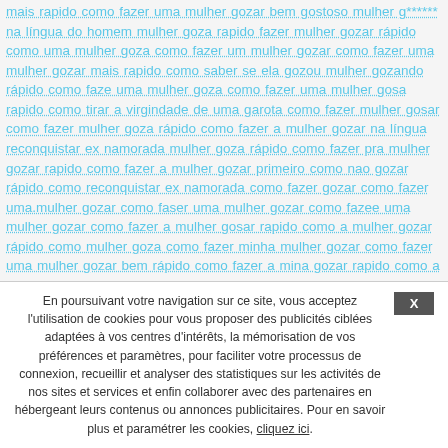mais rapido como fazer uma mulher gozar bem gostoso mulher g****** na língua do homem mulher goza rapido fazer mulher gozar rápido como uma mulher goza como fazer um mulher gozar como fazer uma mulher gozar mais rapido como saber se ela gozou mulher gozando rápido como faze uma mulher goza como fazer uma mulher gosa rapido como tirar a virgindade de uma garota como fazer mulher gosar como fazer mulher goza rápido como fazer a mulher gozar na língua reconquistar ex namorada mulher goza rápido como fazer pra mulher gozar rapido como fazer a mulher gozar primeiro como nao gozar rápido como reconquistar ex namorada como fazer gozar como fazer uma.mulher gozar como faser uma mulher gozar como fazee uma mulher gozar como fazer a mulher gosar rapido como a mulher gozar rápido como mulher goza como fazer minha mulher gozar como fazer uma mulher gozar bem rápido como fazer a mina gozar rapido como a mulher gozar rapido como não gozar rapido como tirar a virgindade da mulher como faz uma mulher gozar como fazer uma mulhergozar fazer uma mulher gozar rápido como fazer pra gozar rapido
En poursuivant votre navigation sur ce site, vous acceptez l'utilisation de cookies pour vous proposer des publicités ciblées adaptées à vos centres d'intérêts, la mémorisation de vos préférences et paramètres, pour faciliter votre processus de connexion, recueillir et analyser des statistiques sur les activités de nos sites et services et enfin collaborer avec des partenaires en hébergeant leurs contenus ou annonces publicitaires. Pour en savoir plus et paramétrer les cookies, cliquez ici.